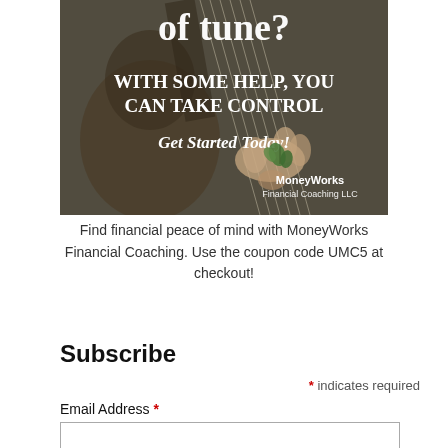[Figure (illustration): Advertisement image for MoneyWorks Financial Coaching LLC showing a guitar being played with overlaid text: 'of tune?', 'WITH SOME HELP, YOU CAN TAKE CONTROL', 'Get Started Today!', and the MoneyWorks Financial Coaching LLC logo with leaf icon.]
Find financial peace of mind with MoneyWorks Financial Coaching. Use the coupon code UMC5 at checkout!
Subscribe
* indicates required
Email Address *